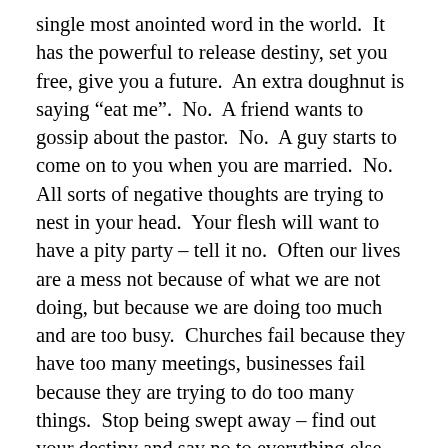single most anointed word in the world.  It has the powerful to release destiny, set you free, give you a future.  An extra doughnut is saying “eat me”.  No.  A friend wants to gossip about the pastor.  No.  A guy starts to come on to you when you are married.  No.  All sorts of negative thoughts are trying to nest in your head.  Your flesh will want to have a pity party – tell it no.  Often our lives are a mess not because of what we are not doing, but because we are doing too much and are too busy.  Churches fail because they have too many meetings, businesses fail because they are trying to do too many things.  Stop being swept away – find out your destiny and say no to everything else.
5. The seed of love.  This is the seed that often produces the quickest harvest.  Try smiling at someone – they almost always instantly smile back.  Go and take someone out to the shops and buy